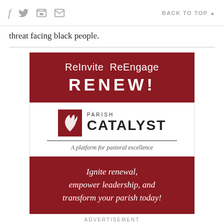f [twitter] [print] [email] BACK TO TOP ▲
threat facing black people.
[Figure (advertisement): Parish Catalyst advertisement with dark red banners reading 'ReInvite ReEngage RENEW!' at top, Parish Catalyst logo in center, and 'Ignite renewal, empower leadership, and transform your parish today!' at bottom.]
ADVERTISEMENT
In Copeland's meditation, a blues hope means